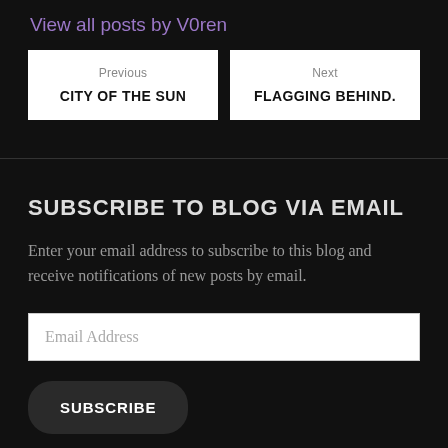View all posts by V0ren
Previous
CITY OF THE SUN
Next
FLAGGING BEHIND.
SUBSCRIBE TO BLOG VIA EMAIL
Enter your email address to subscribe to this blog and receive notifications of new posts by email.
Email Address
SUBSCRIBE